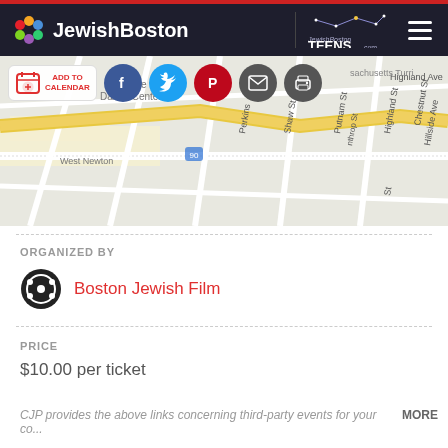JewishBoston
[Figure (map): Street map showing area around West Newton with streets including Perkins, Shaw St, Putnam St, Winthrop St, Highland St, Chestnut St, Hillside Ave, Highland Ave]
ORGANIZED BY
Boston Jewish Film
PRICE
$10.00 per ticket
CJP provides the above links concerning third-party events for your co...
MORE